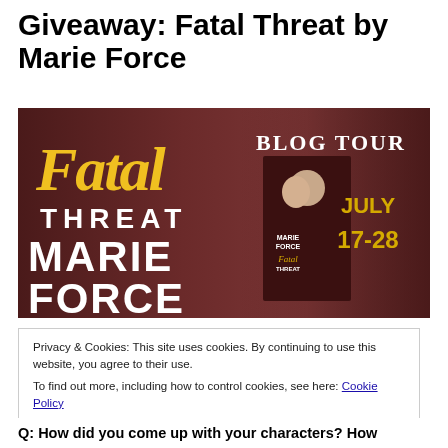Giveaway: Fatal Threat by Marie Force
[Figure (illustration): Blog tour promotional banner for 'Fatal Threat' by Marie Force. Features the book title in gold script and white text on a dark maroon/purple background. Right side shows the book cover with a couple embracing and the text 'Blog Tour July 17-28'.]
Privacy & Cookies: This site uses cookies. By continuing to use this website, you agree to their use.
To find out more, including how to control cookies, see here: Cookie Policy
Close and accept
Q: How did you come up with your characters? How